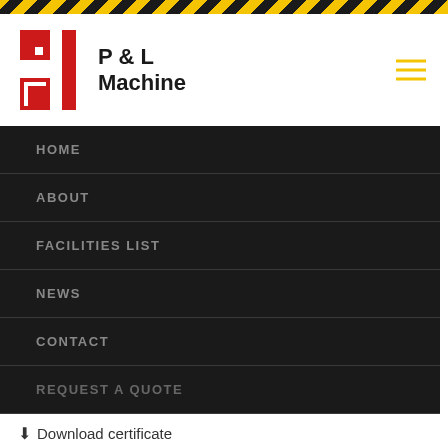[Figure (logo): P&L Machine company logo with red stylized icon and black bold text]
HOME
ABOUT
FACILITIES LIST
NEWS
CONTACT
REQUEST A QUOTE
Components
Mechanical Assembly
WE ARE ISO 9001:2015 CERTIFIED.
Download certificate